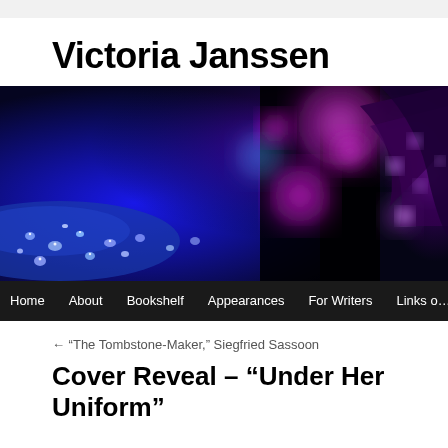Victoria Janssen
[Figure (photo): Macro photograph of water droplets on a dark surface with bokeh background featuring blue and purple/magenta out-of-focus light circles]
Home   About   Bookshelf   Appearances   For Writers   Links of
← “The Tombstone-Maker,” Siegfried Sassoon
Cover Reveal – “Under Her Uniform”